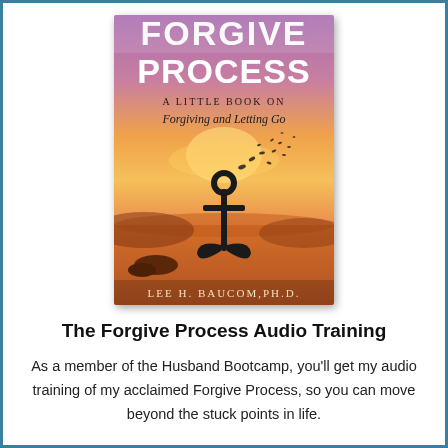[Figure (illustration): Book cover of 'The Forgive Process: A Little Book on Forgiving and Letting Go' by Lee H. Baucom, Ph.D. The cover shows a sunset ocean scene with an anchor dissolving into birds flying away. Title text at top in large letters partially cut off, subtitle below, author name at bottom.]
The Forgive Process Audio Training
As a member of the Husband Bootcamp, you'll get my audio training of my acclaimed Forgive Process, so you can move beyond the stuck points in life.